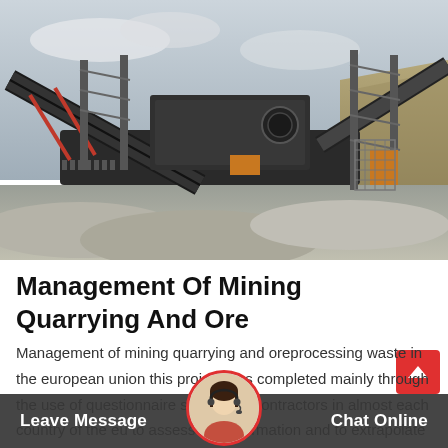[Figure (photo): Large industrial mining/quarrying machinery with conveyor belts and metal scaffolding at an open-pit quarry site, with gravel piles in the foreground and an overcast sky.]
Management Of Mining Quarrying And Ore
Management of mining quarrying and oreprocessing waste in the european union this project was completed mainly through the use of questionnaire sent to subcontractors in almost each country of the eu to assess this information and to extrapolate to the next
Leave Message   Chat Online